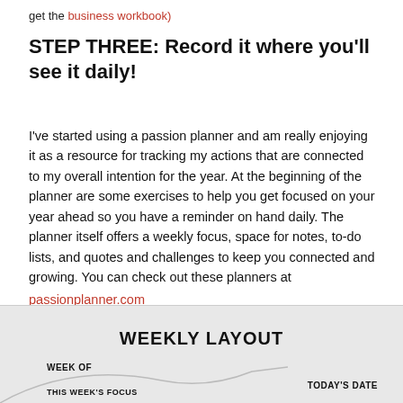get the business workbook)
STEP THREE: Record it where you'll see it daily!
I've started using a passion planner and am really enjoying it as a resource for tracking my actions that are connected to my overall intention for the year. At the beginning of the planner are some exercises to help you get focused on your year ahead so you have a reminder on hand daily. The planner itself offers a weekly focus, space for notes, to-do lists, and quotes and challenges to keep you connected and growing. You can check out these planners at passionplanner.com
[Figure (other): Partial view of a weekly planner layout showing 'WEEKLY LAYOUT' heading, 'WEEK OF' label, 'TODAY'S DATE' label, and 'THIS WEEK'S FOCUS' label with a curved design element]